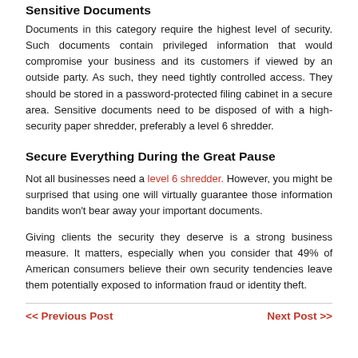Sensitive Documents
Documents in this category require the highest level of security. Such documents contain privileged information that would compromise your business and its customers if viewed by an outside party. As such, they need tightly controlled access. They should be stored in a password-protected filing cabinet in a secure area. Sensitive documents need to be disposed of with a high-security paper shredder, preferably a level 6 shredder.
Secure Everything During the Great Pause
Not all businesses need a level 6 shredder. However, you might be surprised that using one will virtually guarantee those information bandits won't bear away your important documents.
Giving clients the security they deserve is a strong business measure. It matters, especially when you consider that 49% of American consumers believe their own security tendencies leave them potentially exposed to information fraud or identity theft.
<< Previous Post   Next Post >>